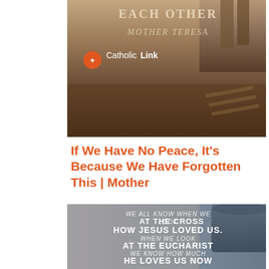[Figure (photo): Photo of sandy/muddy ground with a person's feet visible at top right, overlaid with text 'EACH OTHER', 'MOTHER TERESA', and the Catholic Link logo (orange circle icon + CatholicLink text)]
If We Have No Peace, It's Because We Have Forgotten This | Mother
[Figure (photo): Inspirational quote image on a blurred background of burlap fabric and a dark ceramic mug, with white text reading: 'WE ALL KNOW WHEN WE LOOK AT THE CROSS HOW JESUS LOVED US. WHEN WE LOOK AT THE EUCHARIST WE KNOW HOW MUCH HE LOVES US NOW — MOTHER THERESA']